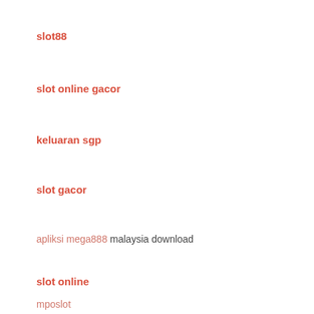slot88
slot online gacor
keluaran sgp
slot gacor
apliksi mega888 malaysia download
slot online
mposlot